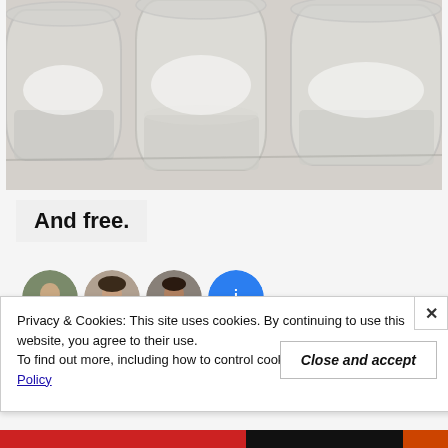[Figure (photo): Three clear glass mason jars with white residue on a white surface, photographed from above at a slight angle.]
And free.
[Figure (photo): Row of circular avatar photos of people, partially visible behind a cookie consent banner.]
Privacy & Cookies: This site uses cookies. By continuing to use this website, you agree to their use.
To find out more, including how to control cookies, see here: Cookie Policy
Close and accept